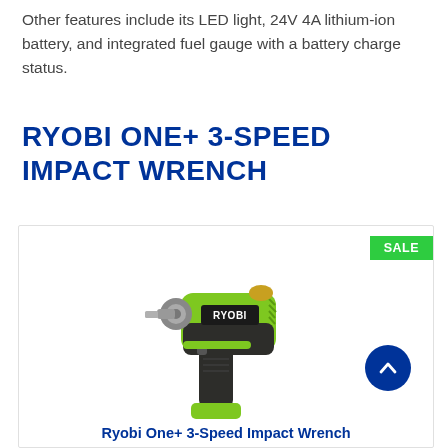Other features include its LED light, 24V 4A lithium-ion battery, and integrated fuel gauge with a battery charge status.
RYOBI ONE+ 3-SPEED IMPACT WRENCH
[Figure (photo): Product photo of a Ryobi One+ 3-Speed Impact Wrench, a green and black cordless power tool, shown on a white background inside a product card with a green SALE badge in the top-right corner and a blue circular scroll-up button on the right side.]
Ryobi One+ 3-Speed Impact Wrench